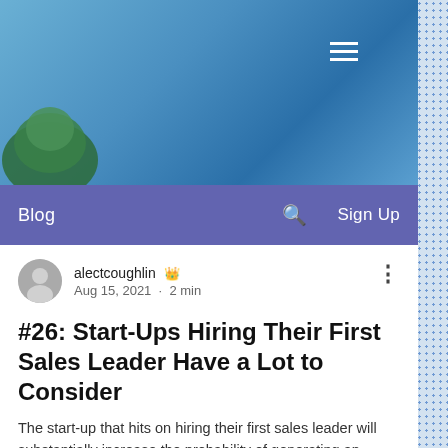[Figure (photo): Blue sky and tree header image with hamburger menu icon in top right]
Blog    🔍    Sign Up
alectcoughlin 👑
Aug 15, 2021 · 2 min
#26: Start-Ups Hiring Their First Sales Leader Have a Lot to Consider
The start-up that hits on hiring their first sales leader will substantially increase the probability of generating an asymmetric